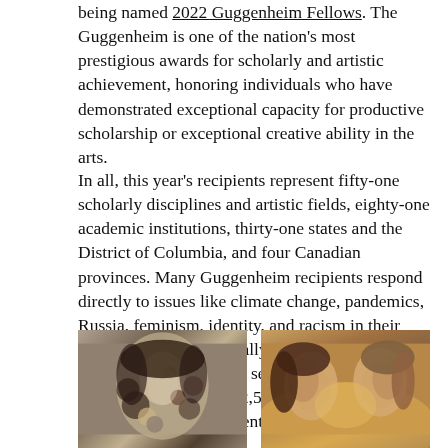being named 2022 Guggenheim Fellows. The Guggenheim is one of the nation's most prestigious awards for scholarly and artistic achievement, honoring individuals who have demonstrated exceptional capacity for productive scholarship or exceptional creative ability in the arts.
In all, this year's recipients represent fifty-one scholarly disciplines and artistic fields, eighty-one academic institutions, thirty-one states and the District of Columbia, and four Canadian provinces. Many Guggenheim recipients respond directly to issues like climate change, pandemics, Russia, feminism, identity, and racism in their projects. The exceptionally rigorous application and peer review process selects each year's recipients from almost 2,500 applicants on the basis of prior achievement and exceptional promise.
[Figure (photo): Left photo: artistic collage portrait of a person with circular overlays. Right photo: two people facing each other closely, warmly lit.]